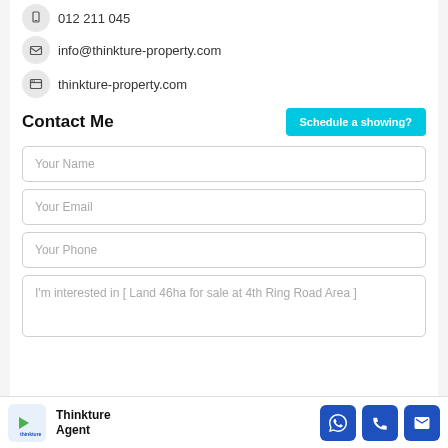012 211 045
info@thinkture-property.com
thinkture-property.com
Contact Me
Schedule a showing?
Your Name
Your Email
Your Phone
I'm interested in [ Land 46ha for sale at 4th Ring Road Area ]
Thinkture Agent